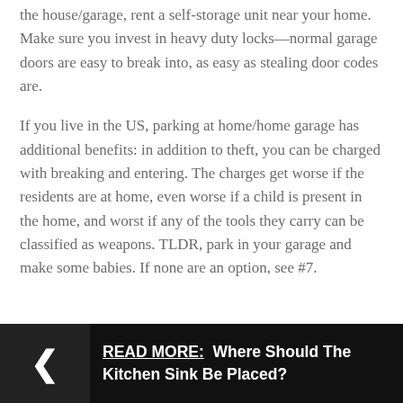the house/garage, rent a self-storage unit near your home. Make sure you invest in heavy duty locks—normal garage doors are easy to break into, as easy as stealing door codes are.
If you live in the US, parking at home/home garage has additional benefits: in addition to theft, you can be charged with breaking and entering. The charges get worse if the residents are at home, even worse if a child is present in the home, and worst if any of the tools they carry can be classified as weapons. TLDR, park in your garage and make some babies. If none are an option, see #7.
READ MORE: Where Should The Kitchen Sink Be Placed?